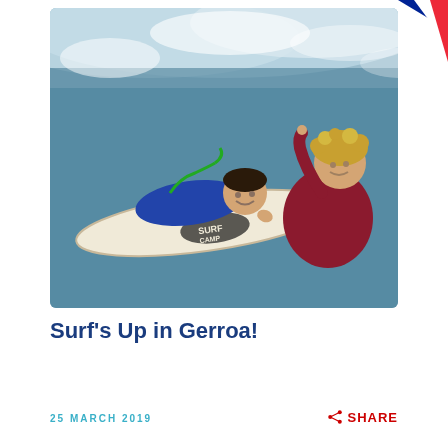[Figure (photo): Photo of a man with Down syndrome lying on a surfboard in the ocean giving a shaka sign, smiling, being assisted by a male surf instructor in a red wetsuit with curly blonde hair. The surfboard has 'Surf Camp' logo. Waves are visible in the background. A French flag diagonal stripe decoration appears in the top right corner of the image.]
Surf's Up in Gerroa!
25 MARCH 2019
SHARE